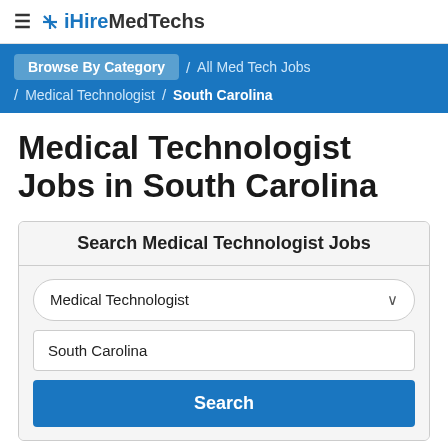≡ iHireMedTechs
Browse By Category / All Med Tech Jobs / Medical Technologist / South Carolina
Medical Technologist Jobs in South Carolina
Search Medical Technologist Jobs
Medical Technologist
South Carolina
Search